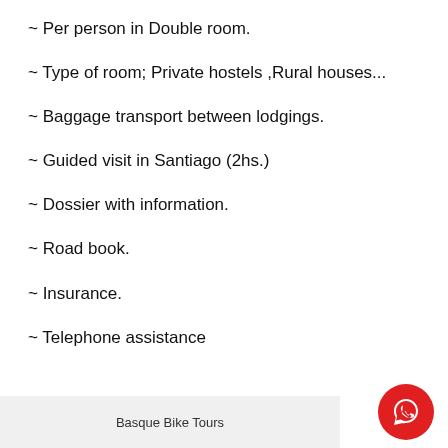~ Per person in Double room.
~ Type of room; Private hostels ,Rural houses...
~ Baggage transport between lodgings.
~ Guided visit in Santiago (2hs.)
~ Dossier with information.
~ Road book.
~ Insurance.
~ Telephone assistance
Basque Bike Tours